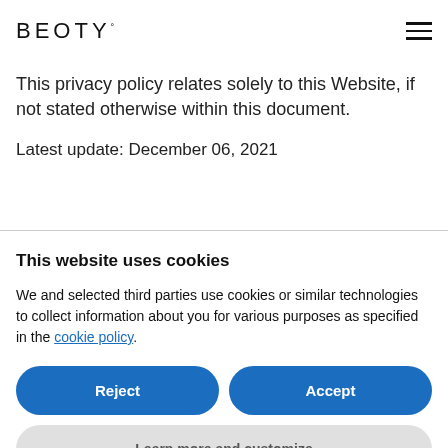BEOTY
This privacy policy relates solely to this Website, if not stated otherwise within this document.
Latest update: December 06, 2021
This website uses cookies
We and selected third parties use cookies or similar technologies to collect information about you for various purposes as specified in the cookie policy.
Reject
Accept
Learn more and customize